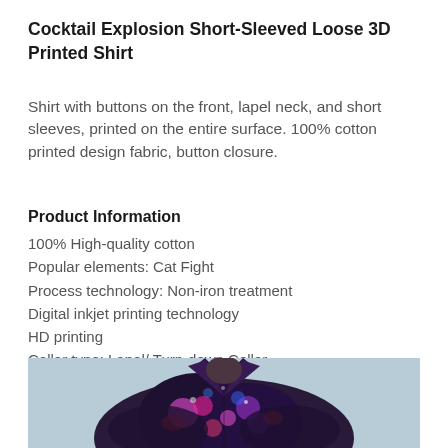Cocktail Explosion Short-Sleeved Loose 3D Printed Shirt
Shirt with buttons on the front, lapel neck, and short sleeves, printed on the entire surface. 100% cotton printed design fabric, button closure.
Product Information
100% High-quality cotton
Popular elements: Cat Fight
Process technology: Non-iron treatment
Digital inkjet printing technology
HD printing
Collar type: Lapel/ Turn-down Collar
Sleeve length: short sleeve
[Figure (photo): Photo of a person wearing a colorful 3D printed shirt with abstract cocktail explosion pattern in dark purple, pink and multicolored design, showing the lapel collar.]